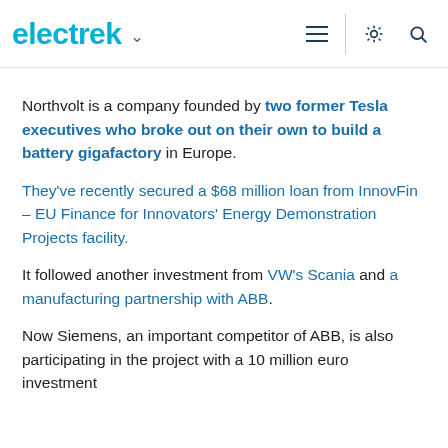electrek
Northvolt is a company founded by two former Tesla executives who broke out on their own to build a battery gigafactory in Europe.
They've recently secured a $68 million loan from InnovFin – EU Finance for Innovators' Energy Demonstration Projects facility.
It followed another investment from VW's Scania and a manufacturing partnership with ABB.
Now Siemens, an important competitor of ABB, is also participating in the project with a 10 million euro investment